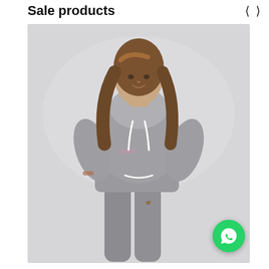Sale products
[Figure (photo): A woman wearing a grey hoodie and grey jogger sweatpants set, posing against a light grey background. The hoodie has a script logo on the chest and white drawstrings. The joggers have a white drawstring waist tie and a small white butterfly logo on the thigh.]
[Figure (other): WhatsApp contact button (green circle with phone handset icon) overlaid in the bottom-right corner of the product image.]